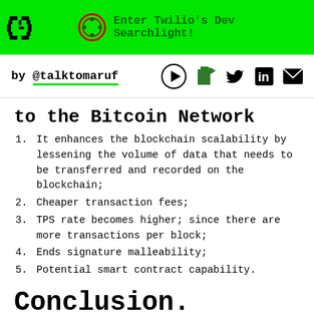Enter Twilio's Dev Searchlight!
by @talktomaruf
to the Bitcoin Network
It enhances the blockchain scalability by lessening the volume of data that needs to be transferred and recorded on the blockchain;
Cheaper transaction fees;
TPS rate becomes higher; since there are more transactions per block;
Ends signature malleability;
Potential smart contract capability.
Conclusion.